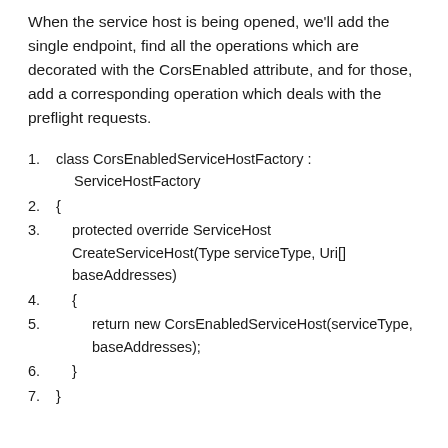When the service host is being opened, we'll add the single endpoint, find all the operations which are decorated with the CorsEnabled attribute, and for those, add a corresponding operation which deals with the preflight requests.
1. class CorsEnabledServiceHostFactory : ServiceHostFactory
2. {
3.     protected override ServiceHost CreateServiceHost(Type serviceType, Uri[] baseAddresses)
4.     {
5.         return new CorsEnabledServiceHost(serviceType, baseAddresses);
6.     }
7. }